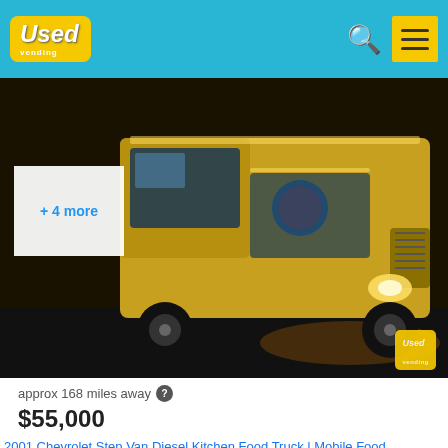Used Vending
[Figure (photo): Yellow food truck (2001 Chevrolet Step Van) photographed at night with lights on, UsedVending watermark in lower right corner. Thumbnail overlay showing '+ 4 more' in top left.]
approx 168 miles away
$55,000
2001 Chevrolet Step Van Diesel Kitchen Food Truck | Mobile Food Unit for Sale in New Jersey!
→🍕 (•🔵•) 🍕 COVID-19 Causes Huge Discounts - These are going fast! 🍕 🚗💨🍕
Craft yo... od business... hen food tru... ystems